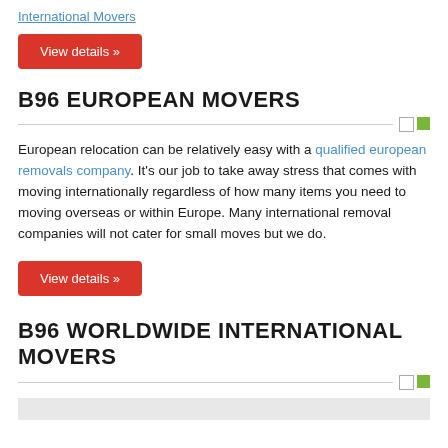International Movers
View details »
B96 EUROPEAN MOVERS
European relocation can be relatively easy with a qualified european removals company. It's our job to take away stress that comes with moving internationally regardless of how many items you need to moving overseas or within Europe. Many international removal companies will not cater for small moves but we do.
View details »
B96 WORLDWIDE INTERNATIONAL MOVERS
[Figure (other): Gray background placeholder image at the bottom of the page]